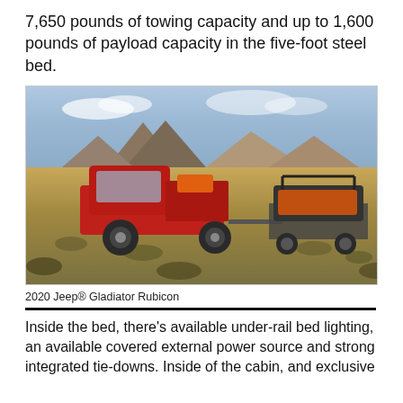7,650 pounds of towing capacity and up to 1,600 pounds of payload capacity in the five-foot steel bed.
[Figure (photo): A red 2020 Jeep Gladiator Rubicon pickup truck towing a trailer carrying off-road vehicles (a dirt bike and UTV/side-by-side) through an arid desert landscape with rocky buttes in the background.]
2020 Jeep® Gladiator Rubicon
Inside the bed, there's available under-rail bed lighting, an available covered external power source and strong integrated tie-downs. Inside of the cabin, and exclusive